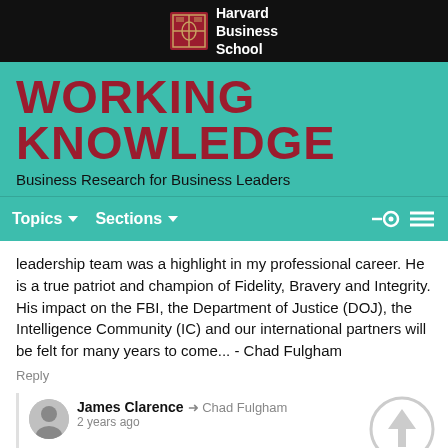[Figure (logo): Harvard Business School logo with shield and text on black background]
WORKING KNOWLEDGE
Business Research for Business Leaders
Topics  Sections
leadership team was a highlight in my professional career. He is a true patriot and champion of Fidelity, Bravery and Integrity. His impact on the FBI, the Department of Justice (DOJ), the Intelligence Community (IC) and our international partners will be felt for many years to come... - Chad Fulgham
Reply
James Clarence → Chad Fulgham
2 years ago
I wouldn't trust anyone who speaks for the FBI
Reply